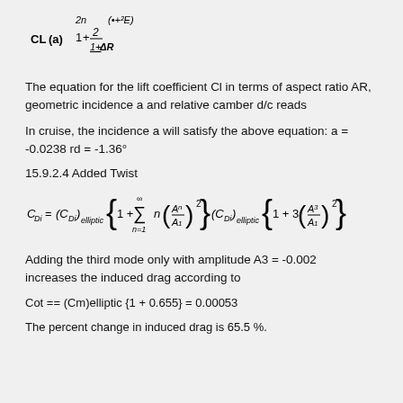The equation for the lift coefficient Cl in terms of aspect ratio AR, geometric incidence a and relative camber d/c reads
In cruise, the incidence a will satisfy the above equation: a = -0.0238 rd = -1.36°
15.9.2.4 Added Twist
Adding the third mode only with amplitude A3 = -0.002 increases the induced drag according to
Cot == (Cm)elliptic {1 + 0.655} = 0.00053
The percent change in induced drag is 65.5 %.